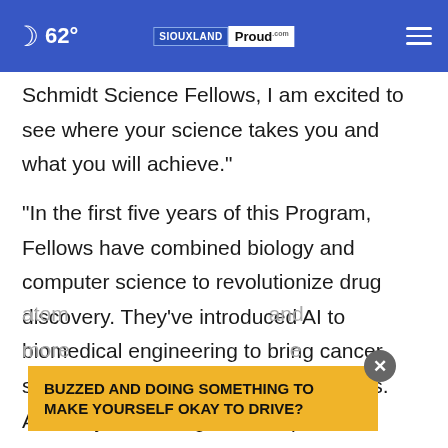62° SIOUXLAND Proud
Schmidt Science Fellows, I am excited to see where your science takes you and what you will achieve."
"In the first five years of this Program, Fellows have combined biology and computer science to revolutionize drug discovery. They've introduced AI to biomedical engineering to bring cancer screening to underserved communities. And they're working acro...optics, atom... and more... e
[Figure (screenshot): Ad overlay with yellow background reading BUZZED AND DOING SOMETHING TO MAKE YOURSELF OKAY TO DRIVE? with close X button]